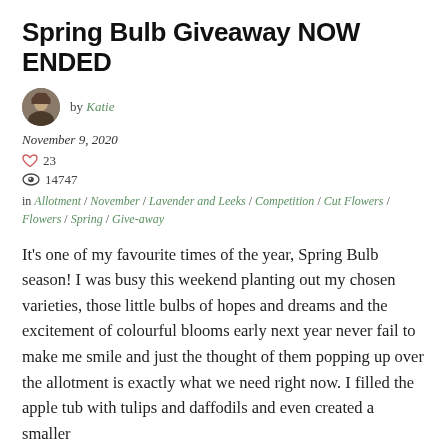Spring Bulb Giveaway NOW ENDED
by Katie
November 9, 2020
♡ 23
👁 14747
in Allotment / November / Lavender and Leeks / Competition / Cut Flowers / Flowers / Spring / Give-away
It's one of my favourite times of the year, Spring Bulb season! I was busy this weekend planting out my chosen varieties, those little bulbs of hopes and dreams and the excitement of colourful blooms early next year never fail to make me smile and just the thought of them popping up over the allotment is exactly what we need right now. I filled the apple tub with tulips and daffodils and even created a smaller